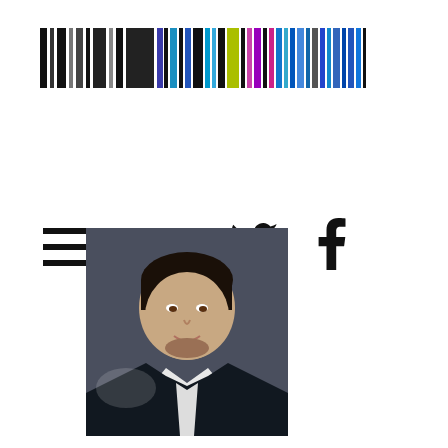[Figure (other): Colorful barcode-style horizontal stripe logo/header graphic with black, gray, blue, cyan, yellow-green, purple, and multicolor vertical bars]
[Figure (other): Hamburger menu icon (three horizontal lines)]
[Figure (other): Twitter bird icon and Facebook 'f' icon as social media links]
[Figure (photo): Photo of Nikil Mukerji, a man in a dark suit and white shirt, looking slightly upward to the left, with a dark background]
Nikil Mukerji